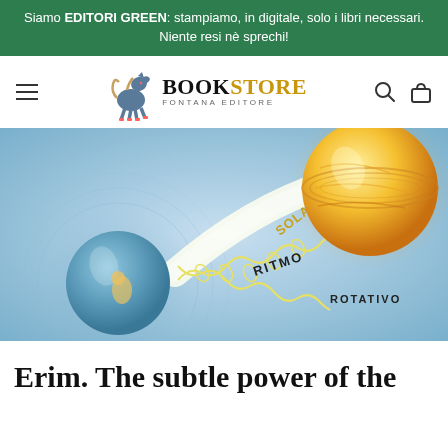Siamo EDITORI GREEN: stampiamo, in digitale, solo i libri necessari. Niente resi nè sprechi!
[Figure (logo): Bookstore Fontana Editore logo with a rampant blue horse and the text BOOKSTORE FONTANA EDITORE]
[Figure (illustration): Vintage scientific illustration showing Earth and the Sun connected by a helical/coiled beam labeled RITMO SOLARE ROTATIVO, depicting solar rotational rhythm]
Erim. The subtle power of the